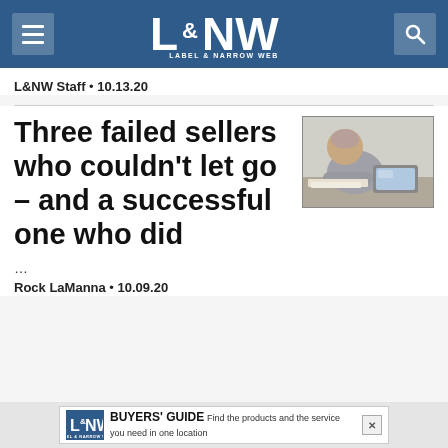L&NW Label & Narrow Web
L&NW Staff • 10.13.20
[Figure (photo): A stressed or tired man resting his head on his hand while working at a laptop, viewed from the side.]
Three failed sellers who couldn't let go – and a successful one who did
...
Rock LaManna • 10.09.20
[Figure (infographic): L&NW Buyers' Guide advertisement banner: 'Find the products and the service you need in one location']